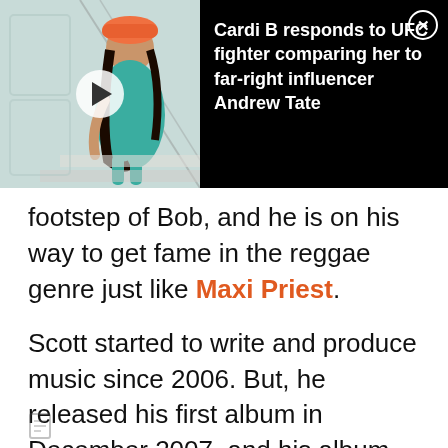[Figure (screenshot): A notification/ad banner showing a person sitting on stairs wearing a teal outfit and orange hat, with a play button overlay on the left half, and text on the right half reading 'Cardi B responds to UFC fighter comparing her to far-right influencer Andrew Tate' on a black background with a close button.]
footstep of Bob, and he is on his way to get fame in the reggae genre just like Maxi Priest.
Scott started to write and produce music since 2006. But, he released his first album in December 2007, and his album was called The Sound of My Addiction. In 2008, he released his Sophomore album, Burnin' Ocean, which tuned to be the biggest hit and fell under the top ten music in the Reggae genre.